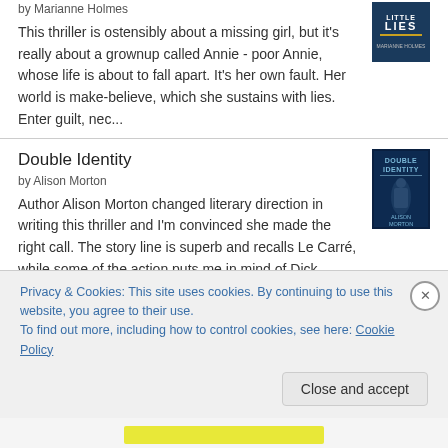by Marianne Holmes
This thriller is ostensibly about a missing girl, but it's really about a grownup called Annie - poor Annie, whose life is about to fall apart. It's her own fault. Her world is make-believe, which she sustains with lies. Enter guilt, nec...
Double Identity
by Alison Morton
Author Alison Morton changed literary direction in writing this thriller and I'm convinced she made the right call. The story line is superb and recalls Le Carré, while some of the action puts me in mind of Dick Francis (with less horse ...
The Last Goodbye
by Fiona Lucas
Privacy & Cookies: This site uses cookies. By continuing to use this website, you agree to their use.
To find out more, including how to control cookies, see here: Cookie Policy